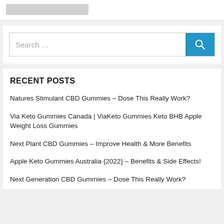[Figure (other): Gray placeholder rectangle at top]
Search …
RECENT POSTS
Natures Stimulant CBD Gummies – Dose This Really Work?
Via Keto Gummies Canada | ViaKeto Gummies Keto BHB Apple Weight Loss Gummies
Next Plant CBD Gummies – Improve Health & More Benefits
Apple Keto Gummies Australia {2022} – Benefits & Side Effects!
Next Generation CBD Gummies – Dose This Really Work?